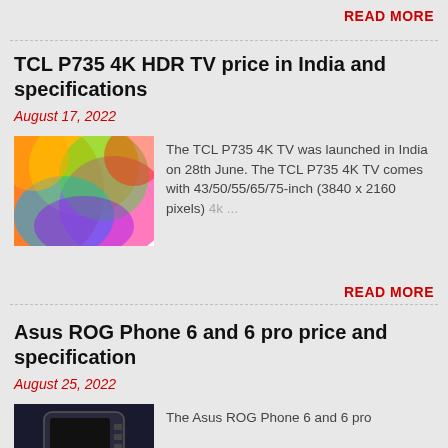READ MORE
TCL P735 4K HDR TV price in India and specifications
August 17, 2022
[Figure (photo): Colorful abstract TV display image for TCL P735]
The TCL P735 4K TV was launched in India on 28th June. The TCL P735 4K TV comes with 43/50/55/65/75-inch (3840 x 2160 pixels) 4k ...
READ MORE
Asus ROG Phone 6 and 6 pro price and specification
August 25, 2022
[Figure (photo): Asus ROG Phone 6 device image]
The Asus ROG Phone 6 and 6 pro